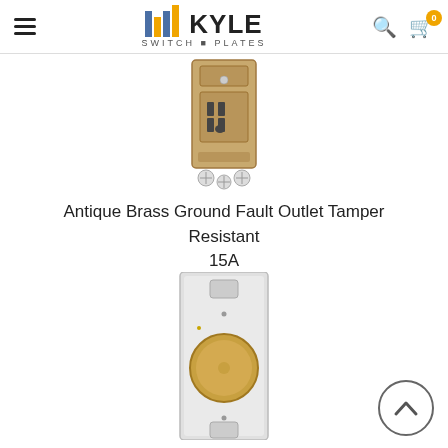Kyle Switch Plates — navigation header with hamburger menu, logo, search icon, and cart (0 items)
[Figure (photo): Antique brass ground fault outlet (GFCI) — front view showing receptacle face with mounting hardware at bottom]
Antique Brass Ground Fault Outlet Tamper Resistant 15A
[Figure (photo): Antique brass rotary dimmer switch — front view showing round brass knob on white/silver wall plate with screw holes]
[Figure (other): Back-to-top chevron button — circle with upward-pointing chevron arrow]